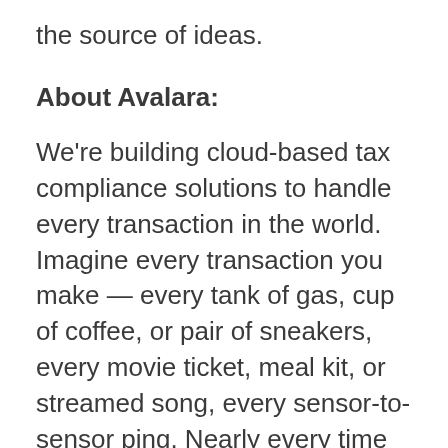the source of ideas.
About Avalara:
We're building cloud-based tax compliance solutions to handle every transaction in the world. Imagine every transaction you make — every tank of gas, cup of coffee, or pair of sneakers, every movie ticket, meal kit, or streamed song, every sensor-to-sensor ping. Nearly every time you make a purchase, physical or digital, there's an accompanying unique and